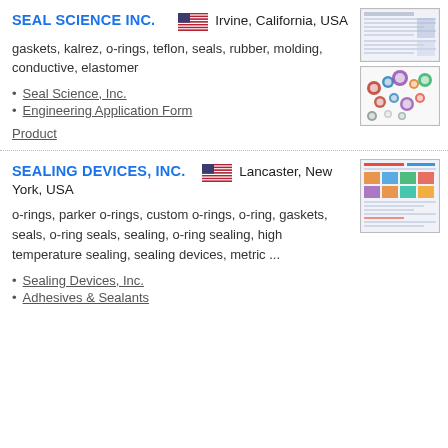SEAL SCIENCE INC.
Irvine, California, USA
gaskets, kalrez, o-rings, teflon, seals, rubber, molding, conductive, elastomer
Seal Science, Inc.
Engineering Application Form
Product
SEALING DEVICES, INC.
Lancaster, New York, USA
o-rings, parker o-rings, custom o-rings, o-ring, gaskets, seals, o-ring seals, sealing, o-ring sealing, high temperature sealing, sealing devices, metric ...
Sealing Devices, Inc.
Adhesives & Sealants